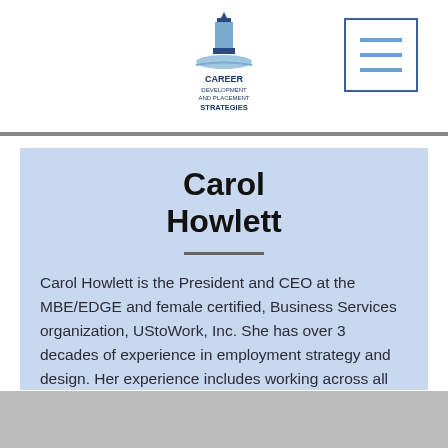Career Development and Placement Strategies
Carol Howlett
Carol Howlett is the President and CEO at the MBE/EDGE and female certified, Business Services organization, UStoWork, Inc. She has over 3 decades of experience in employment strategy and design. Her experience includes working across all personnel levels with diverse populations of job seekers, employers, non-profits and governmental agencies.
Read More